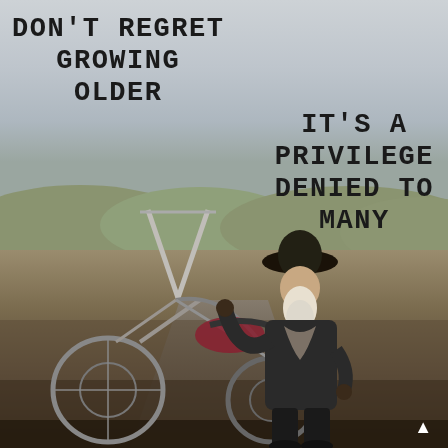[Figure (photo): An elderly man with a long white beard, wearing a wide-brimmed cowboy hat, dark t-shirt and jeans, leaning on a chopper motorcycle. The background shows an open desert road landscape with muted sky and terrain. The image is a motivational meme with text overlaid.]
DON'T REGRET GROWING OLDER
IT'S A PRIVILEGE DENIED TO MANY